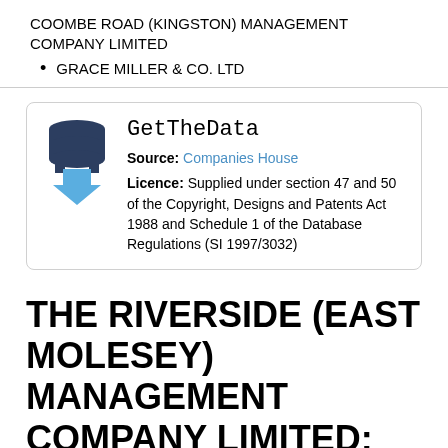COOMBE ROAD (KINGSTON) MANAGEMENT COMPANY LIMITED
GRACE MILLER & CO. LTD
[Figure (logo): GetTheData logo with database icon and blue download arrow]
GetTheData Source: Companies House Licence: Supplied under section 47 and 50 of the Copyright, Designs and Patents Act 1988 and Schedule 1 of the Database Regulations (SI 1997/3032)
THE RIVERSIDE (EAST MOLESEY) MANAGEMENT COMPANY LIMITED: Maps